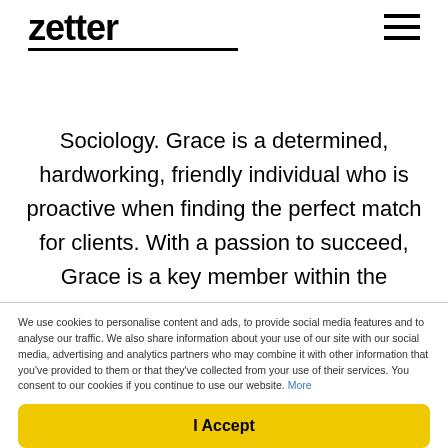zetter
Sociology. Grace is a determined, hardworking, friendly individual who is proactive when finding the perfect match for clients. With a passion to succeed, Grace is a key member within the recruitment team.Get in touch with Grace if you are looking for your next career move or would like to hear mor...
[Figure (other): Pink rounded button with white text 'View profile']
We use cookies to personalise content and ads, to provide social media features and to analyse our traffic. We also share information about your use of our site with our social media, advertising and analytics partners who may combine it with other information that you've provided to them or that they've collected from your use of their services. You consent to our cookies if you continue to use our website. More
[Figure (other): Yellow 'I Accept' button for cookie consent]